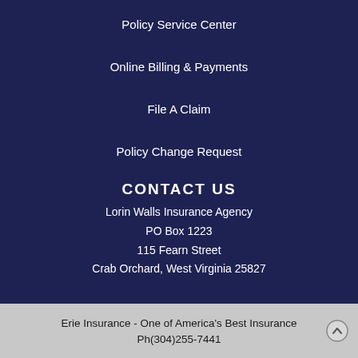Policy Service Center
Online Billing & Payments
File A Claim
Policy Change Request
CONTACT US
Lorin Walls Insurance Agency
PO Box 1223
115 Fearn Street
Crab Orchard, West Virginia 25827
Erie Insurance - One of America's Best Insurance Companies
Ph(304)255-7441
Fax (304)255-4804